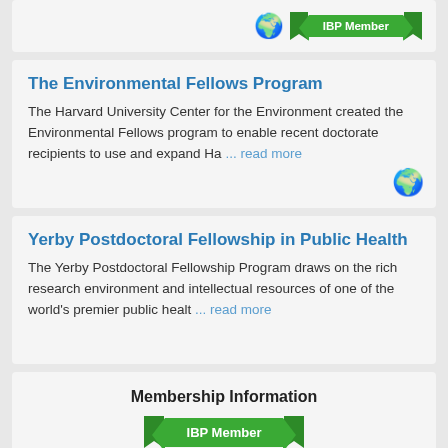[Figure (illustration): Globe icon and IBP Member ribbon banner in top card]
The Environmental Fellows Program
The Harvard University Center for the Environment created the Environmental Fellows program to enable recent doctorate recipients to use and expand Ha ... read more
[Figure (illustration): Globe icon in bottom right of Environmental Fellows card]
Yerby Postdoctoral Fellowship in Public Health
The Yerby Postdoctoral Fellowship Program draws on the rich research environment and intellectual resources of one of the world's premier public healt ... read more
Membership Information
[Figure (illustration): IBP Member ribbon banner]
Learn About Membership
View a list of current members